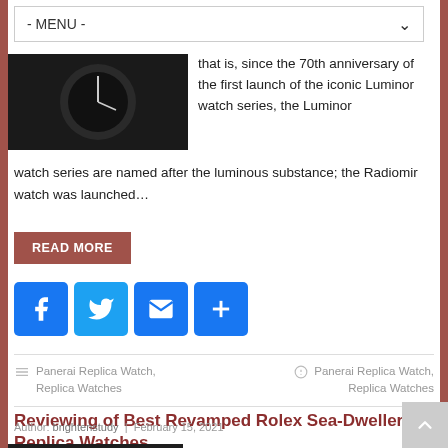- MENU -
[Figure (photo): Dark photograph of a watch on a wrist]
that is, since the 70th anniversary of the first launch of the iconic Luminor watch series, the Luminor watch series are named after the luminous substance; the Radiomir watch was launched…
READ MORE
[Figure (infographic): Social sharing icons: Facebook, Twitter, Email, Share]
Panerai Replica Watch, Replica Watches
Panerai Replica Watch, Replica Watches
Reviewing of Best Revamped Rolex Sea-Dweller Replica Watches
Author: brightenstudy | February 15, 2021
[Figure (photo): Dark photograph of a watch]
Rolex replica watches launched the first diver's watch Submariner